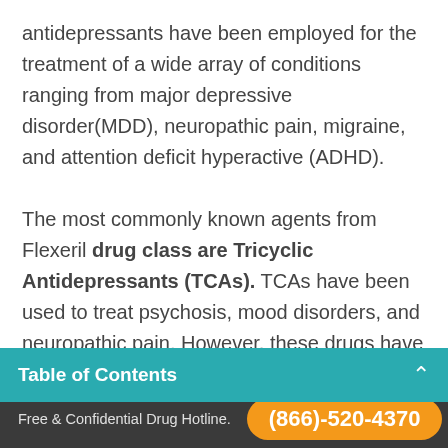antidepressants have been employed for the treatment of a wide array of conditions ranging from major depressive disorder(MDD), neuropathic pain, migraine, and attention deficit hyperactive (ADHD).

The most commonly known agents from Flexeril drug class are Tricyclic Antidepressants (TCAs). TCAs have been used to treat psychosis, mood disorders, and neuropathic pain. However, these drugs have wide adverse side effect profiles, a high likelihood for lethality and are, thus, prescribed
Table of Contents
of this class of cyclical antidepressants, is no
Free & Confidential Drug Hotline.  (866)-520-4370